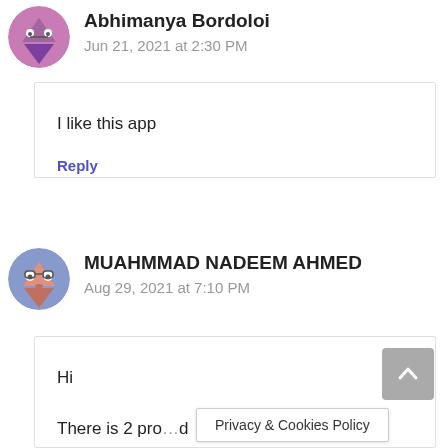Abhimanya Bordoloi
Jun 21, 2021 at 2:30 PM
I like this app
Reply
MUAHMMAD NADEEM AHMED
Aug 29, 2021 at 7:10 PM
Hi

There is 2 pro...d
Privacy & Cookies Policy